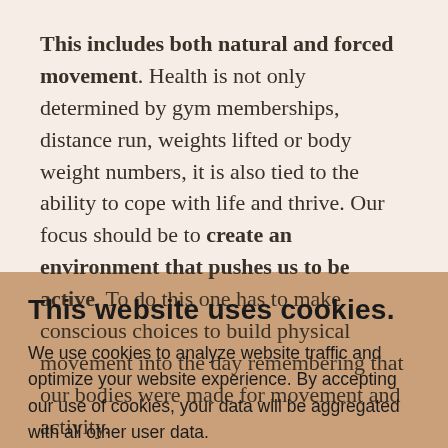This includes both natural and forced movement. Health is not only determined by gym memberships, distance run, weights lifted or body weight numbers, it is also tied to the ability to cope with life and thrive. Our focus should be to create an environment that pushes us to be active. To do this one has to make conscious choices to build physical movement into the day remembering that our bodies were made for movement and activity.
This website uses cookies.
We use cookies to analyze website traffic and optimize your website experience. By accepting our use of cookies, your data will be aggregated with all other user data.